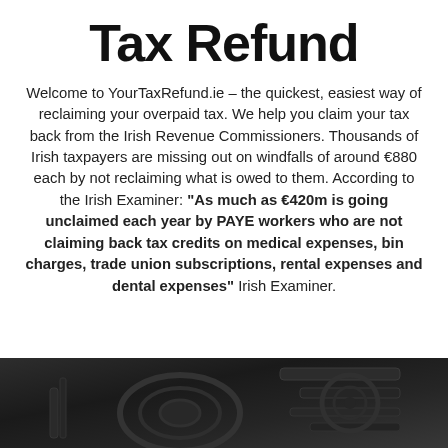Tax Refund
Welcome to YourTaxRefund.ie – the quickest, easiest way of reclaiming your overpaid tax. We help you claim your tax back from the Irish Revenue Commissioners. Thousands of Irish taxpayers are missing out on windfalls of around €880 each by not reclaiming what is owed to them. According to the Irish Examiner: "As much as €420m is going unclaimed each year by PAYE workers who are not claiming back tax credits on medical expenses, bin charges, trade union subscriptions, rental expenses and dental expenses" Irish Examiner.
[Figure (photo): Dark textured photo of mechanical/industrial equipment at the bottom of the page]